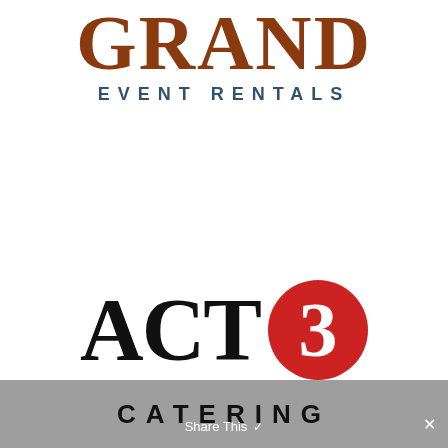[Figure (logo): Grand Event Rentals logo: large brown serif 'GRAND' text above smaller dark teal spaced caps 'EVENT RENTALS']
[Figure (logo): ACT 3 logo: large bold black serif 'ACT' text next to a red circle containing white bold '3']
[Figure (logo): Gray bar at bottom with 'CATERING' in bold spaced black caps, overlaid with 'Share This' UI element with close button]